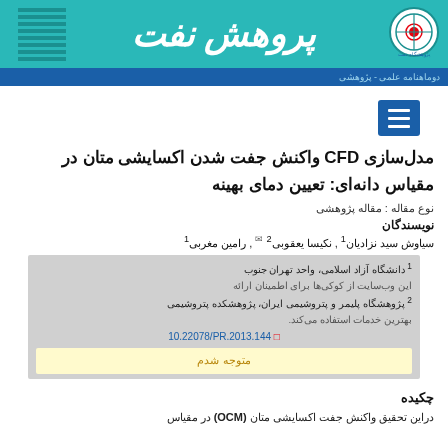پروهش نفت — دوماهنامه علمی - پژوهشی
مدل‌سازی CFD واکنش جفت شدن اکسایشی متان در مقیاس دانه‌ای: تعیین دمای بهینه
نوع مقاله : مقاله پژوهشی
نویسندگان
سیاوش سید نزادیان¹ , نکیسا یعقوبی² ✉ , رامین مغربی¹
¹ دانشگاه آزاد اسلامی، واحد تهران جنوب
² پژوهشگاه پلیمر و پتروشیمی ایران، پژوهشکده پتروشیمی
10.22078/PR.2013.144
متوجه شدم
چکیده
دراین تحقیق واکنش جفت اکسایشی متان (OCM) در مقیاس